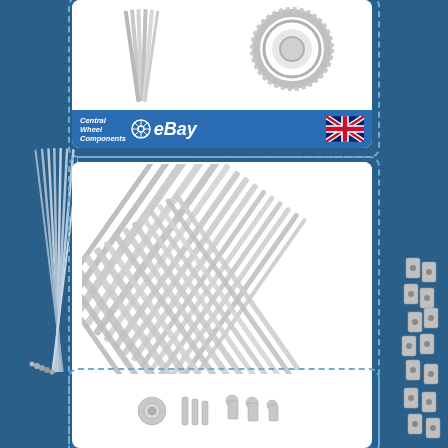[Figure (photo): Product card 1: metal spokes/needles and chain ring bicycle parts on white background, with Central Wheel Components eBay UK branding footer]
[Figure (photo): Left side: long metal bicycle spokes laid diagonally on blue background]
[Figure (photo): Product card 2: large bundle of crossed silver bicycle spokes on white background, with Central Wheel Components eBay UK branding footer]
[Figure (photo): Right side: small metal spoke nipples/nuts on blue background]
[Figure (photo): Product card 3: partial view of small bicycle spoke hardware on white background]